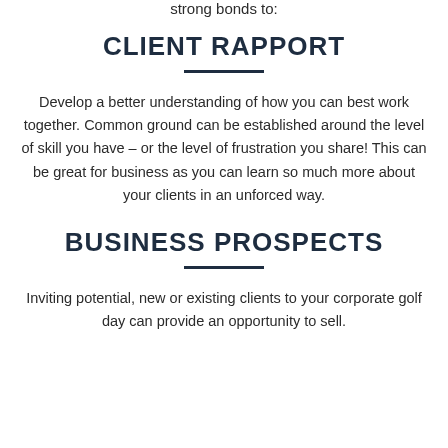strong bonds to:
CLIENT RAPPORT
Develop a better understanding of how you can best work together. Common ground can be established around the level of skill you have – or the level of frustration you share! This can be great for business as you can learn so much more about your clients in an unforced way.
BUSINESS PROSPECTS
Inviting potential, new or existing clients to your corporate golf day can provide an opportunity to sell.